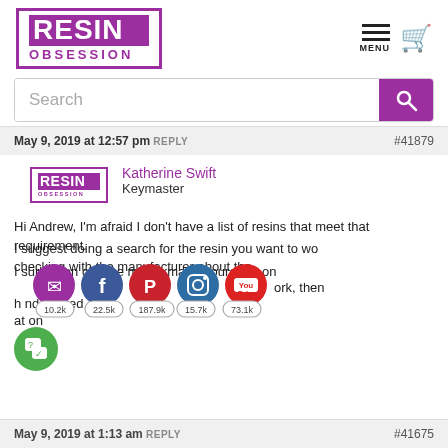[Figure (logo): Resin Obsession logo - purple box with RESIN in white on purple background and OBSESSION in purple text below]
[Figure (screenshot): Hamburger menu icon and purple shopping cart icon in top right header]
Search
May 9, 2019 at 12:57 pm REPLY #41879
[Figure (logo): Small Resin Obsession logo thumbnail for Katherine Swift author avatar]
Katherine Swift
Keymaster
Hi Andrew, I'm afraid I don't have a list of resins that meet that requirement.

I suggest doing a search for the resin you want to work, then checking with the manufacturer about the maximum amount that can be mixed and poured at one
[Figure (infographic): Social media sharing icons: email (purple), Facebook (blue), Pinterest (red), Instagram (blue), YouTube (red), with follower counts: 10.2k, 22.5k, 187.9k, 15.7k, 73.1k]
May 9, 2019 at 1:13 am REPLY #41675